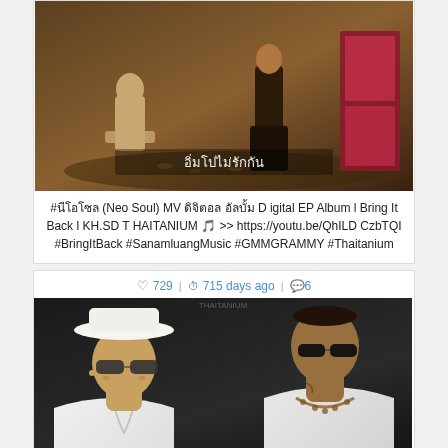[Figure (photo): Music video still showing two figures in a dimly lit scene with Thai text overlay reading 'อิ่มโปไม่รักกัน']
#นีโอโซล (Neo Soul) MV ดิจิตอล อัลบั้ม Digital EP Album l Bring It Back l KH.SD THAITANIUM 🎵 >> https://youtu.be/QhILDCzbTQI #BringItBack #SanamluangMusic #GMMGRAMMY #Thaitanium
♡729 | ⏱ 715 days ago | 💬6
[Figure (photo): Two men in white outfits and sunglasses, one wearing a white hat, with 'Bring it Back' text overlay - appears to be album/single cover art for Thaitanium]